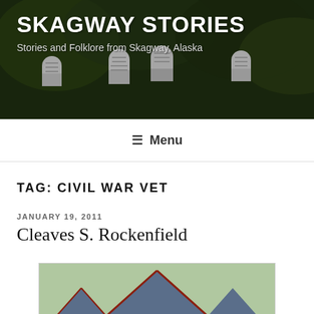[Figure (photo): Header banner showing cemetery gravestones among trees with site title overlay]
SKAGWAY STORIES
Stories and Folklore from Skagway, Alaska
≡ Menu
TAG: CIVIL WAR VET
JANUARY 19, 2011
Cleaves S. Rockenfield
[Figure (photo): Photo of a Victorian-style two-story house with blue and cream siding, gabled roof, and a balcony]